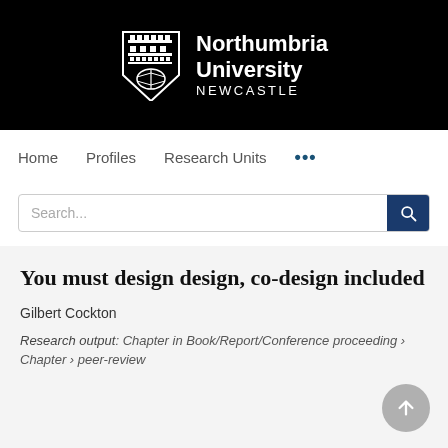[Figure (logo): Northumbria University Newcastle logo on black background — shield crest and white text reading Northumbria University NEWCASTLE]
Home   Profiles   Research Units   ...
Search...
You must design design, co-design included
Gilbert Cockton
Research output: Chapter in Book/Report/Conference proceeding › Chapter › peer-review